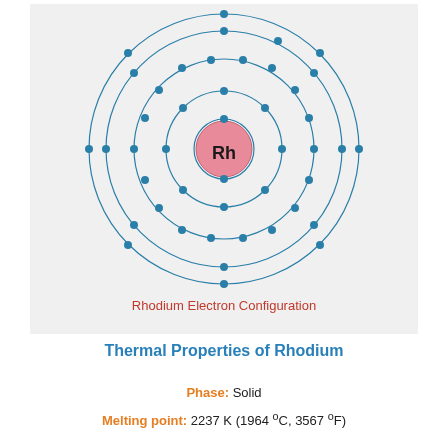[Figure (schematic): Bohr model / electron shell diagram of Rhodium (Rh). Pink nucleus labeled Rh in center, surrounded by 5 concentric circular orbits with electrons (dark teal dots) distributed: 2, 8, 18, 9, 8 electrons on successive shells.]
Rhodium Electron Configuration
Thermal Properties of Rhodium
Phase:  Solid
Melting point:  2237 K (1964 °C, 3567 °F)